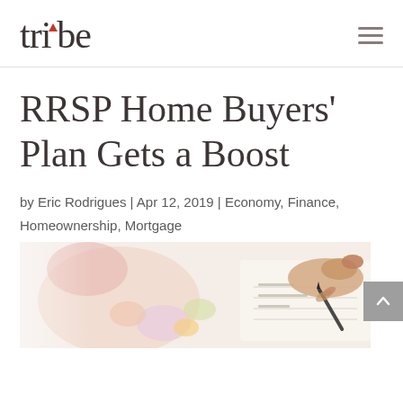tribe
RRSP Home Buyers' Plan Gets a Boost
by Eric Rodrigues | Apr 12, 2019 | Economy, Finance, Homeownership, Mortgage
[Figure (photo): Photo of a person writing on paper with a pen, with colorful items in the background, representing home buying or financial planning.]